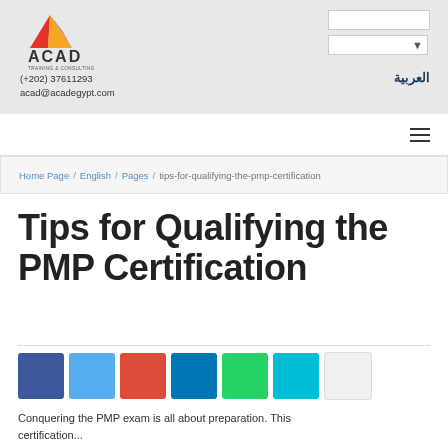[Figure (logo): ACAD Training & Consulting logo with triangular red and orange icon above text]
(+202) 37611293
acad@acadegypt.com
العربية
Home Page / English / Pages / tips-for-qualifying-the-pmp-certification
Tips for Qualifying the PMP Certification
Conquering the PMP exam is all about preparation. This certification...